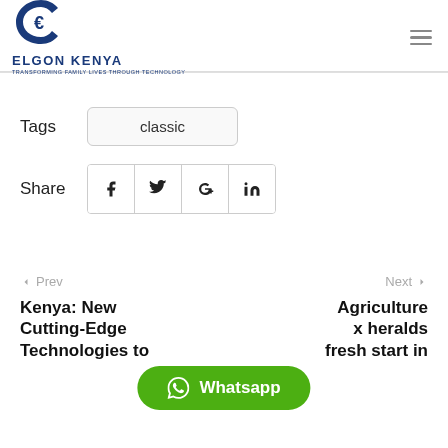ELGON KENYA — Transforming Family Lives Through Technology
Tags  classic
Share  [social icons: Facebook, Twitter, Google+, LinkedIn]
← Prev
Next →
Kenya: New Cutting-Edge Technologies to
Agriculture x heralds fresh start in
Whatsapp